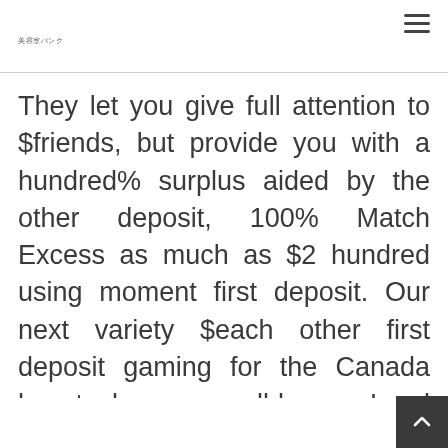美容室バンク
They let you give full attention to $friends, but provide you with a hundred% surplus aided by the other deposit, 100% Match Excess as much as $2 hundred using moment first deposit. Our next variety $each other first deposit gaming for the Canada has to be your well-known Land Gaming. The offer are very unique of the most important approach, that will be why is they brand spanking new. When task visibility try $oneself,100 along with oth